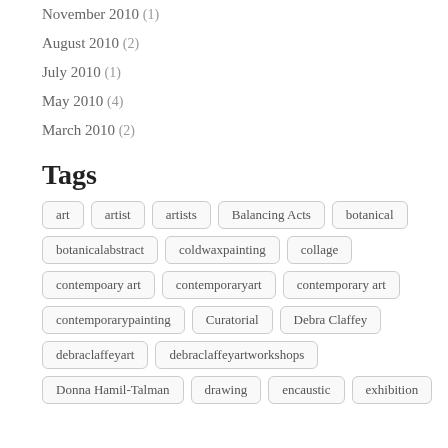November 2010 (1)
August 2010 (2)
July 2010 (1)
May 2010 (4)
March 2010 (2)
Tags
art
artist
artists
Balancing Acts
botanical
botanicalabstract
coldwaxpainting
collage
contempoary art
contemporaryart
contemporary art
contemporarypainting
Curatorial
Debra Claffey
debraclaffeyart
debraclaffeyartworkshops
Donna Hamil-Talman
drawing
encaustic
exhibition